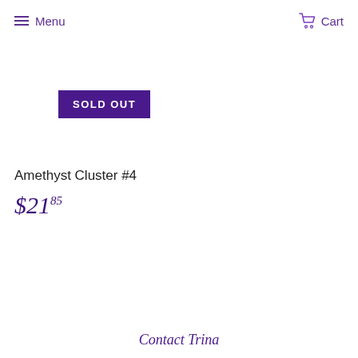Menu  Cart
SOLD OUT
Amethyst Cluster #4
$21.85
Contact Trina